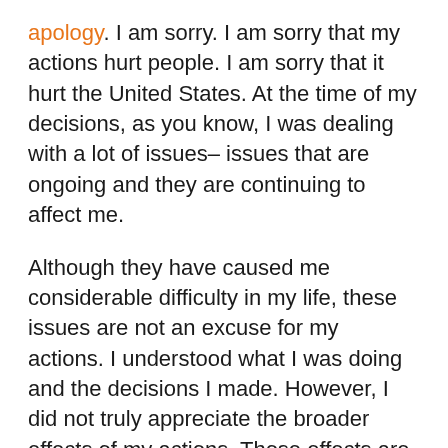apology. I am sorry. I am sorry that my actions hurt people. I am sorry that it hurt the United States. At the time of my decisions, as you know, I was dealing with a lot of issues– issues that are ongoing and they are continuing to affect me.
Although they have caused me considerable difficulty in my life, these issues are not an excuse for my actions. I understood what I was doing and the decisions I made. However, I did not truly appreciate the broader effects of my actions. Those effects are clearer to me now through both self-reflection during my confinement in its various forms and through the merits and sentencing testimony that I have seen here.